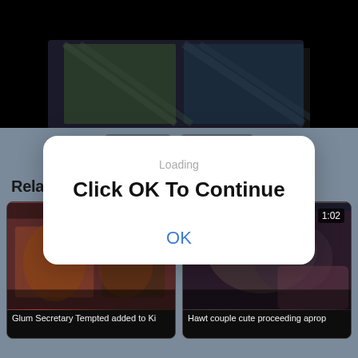[Figure (screenshot): Top portion of a video player showing dark content]
Indian
Pissing
Related movies
[Figure (screenshot): Modal dialog overlay on webpage showing 'Loading', 'Click OK To Continue', and 'OK' button]
3:50
1:02
Glum Secretary Tempted added to Ki
Hawt couple cute proceeding aprop